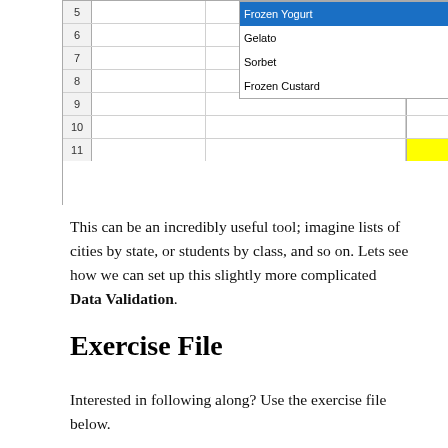[Figure (screenshot): A spreadsheet showing rows 5-11 with row numbers on the left and yellow highlighted cells on the right. A dropdown menu is open showing options: Frozen Yogurt (selected/highlighted in blue), Gelato, Sorbet, Frozen Custard.]
This can be an incredibly useful tool; imagine lists of cities by state, or students by class, and so on. Lets see how we can set up this slightly more complicated Data Validation.
Exercise File
Interested in following along? Use the exercise file below.